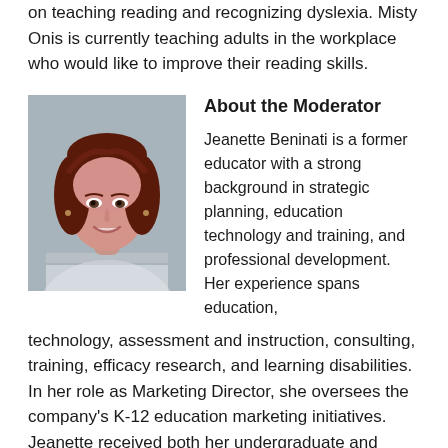on teaching reading and recognizing dyslexia. Misty Onis is currently teaching adults in the workplace who would like to improve their reading skills.
[Figure (photo): Headshot of Jeanette Beninati, a woman with long dark red hair, smiling, wearing a striped top, against a light grey background.]
About the Moderator
Jeanette Beninati is a former educator with a strong background in strategic planning, education technology and training, and professional development. Her experience spans education, technology, assessment and instruction, consulting, training, efficacy research, and learning disabilities. In her role as Marketing Director, she oversees the company's K-12 education marketing initiatives. Jeanette received both her undergraduate and M.Ed. degrees from Boston University.
Closed captioning will be added to the recording within 2